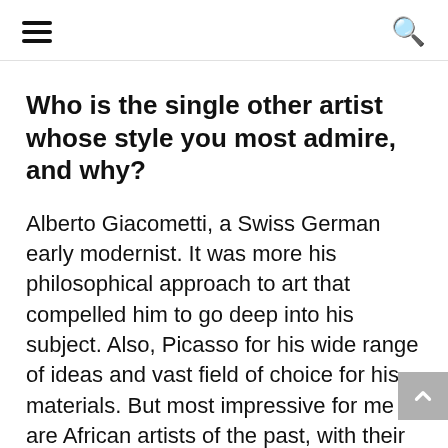≡  🔍
Who is the single other artist whose style you most admire, and why?
Alberto Giacometti, a Swiss German early modernist. It was more his philosophical approach to art that compelled him to go deep into his subject. Also, Picasso for his wide range of ideas and vast field of choice for his materials. But most impressive for me are African artists of the past, with their ability to transform an ordinary statue into a powerful spiritual instrument that could be used for multiple purposes.